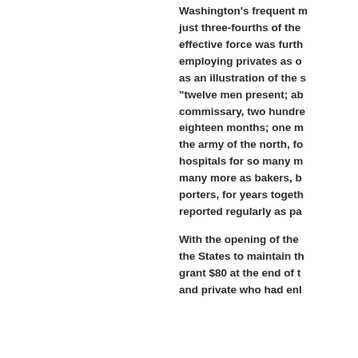Washington's frequent moves, just three-fourths of the effective force was further employing privates as of as an illustration of the s "twelve men present; ab commissary, two hundre eighteen months; one m the army of the north, fo hospitals for so many m many more as bakers, b porters, for years togeth reported regularly as pa With the opening of the the States to maintain th grant $80 at the end of t and private who had enl